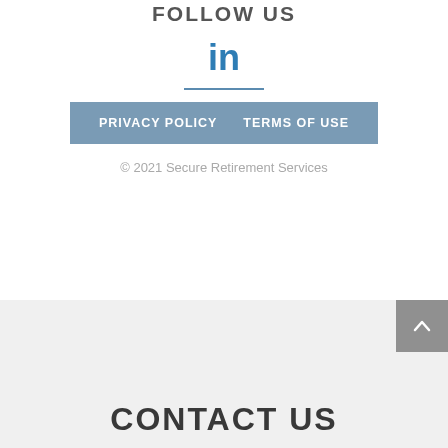FOLLOW US
[Figure (logo): LinkedIn icon in blue]
PRIVACY POLICY    TERMS OF USE
© 2021 Secure Retirement Services
CONTACT US